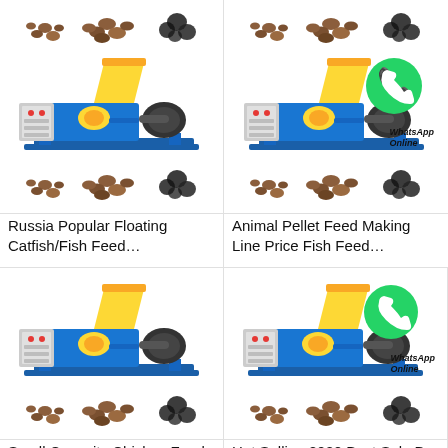[Figure (photo): Fish feed pellets (small round brown, larger brown nuggets, black granules) above a blue and yellow fish feed pellet machine]
Russia Popular Floating Catfish/Fish Feed…
[Figure (photo): Fish feed pellets above a blue and yellow fish feed pellet machine with WhatsApp Online badge overlay]
Animal Pellet Feed Making Line Price Fish Feed…
[Figure (photo): Blue and yellow small capacity fish feed pellet machine with pellet samples below]
Small Capacity Chicken Feed Pellet Machine Fish…
[Figure (photo): Blue and yellow floating fish food machine with WhatsApp Online badge and pellet samples below]
Hot Selling 2020 Best Sale Dry Floating Fish Food…
All Products
Contact Now